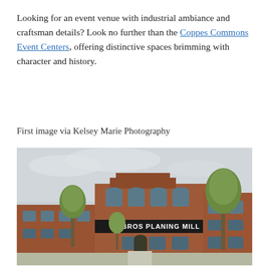Looking for an event venue with industrial ambiance and craftsman details? Look no further than the Coppes Commons Event Centers, offering distinctive spaces brimming with character and history.
First image via Kelsey Marie Photography
[Figure (photo): Exterior photograph of a historic two-story red brick building with a sign reading 'BROS PLANING MILL', surrounded by young trees, under an overcast sky.]